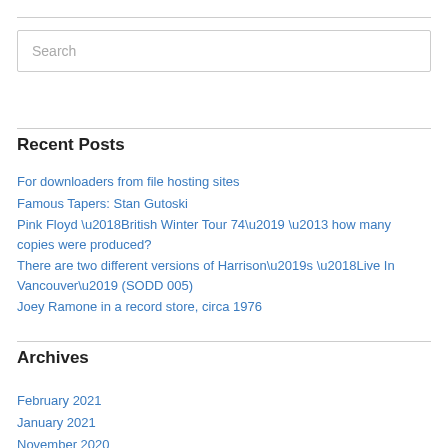Search
Recent Posts
For downloaders from file hosting sites
Famous Tapers: Stan Gutoski
Pink Floyd ‘British Winter Tour 74’ – how many copies were produced?
There are two different versions of Harrison’s ‘Live In Vancouver’ (SODD 005)
Joey Ramone in a record store, circa 1976
Archives
February 2021
January 2021
November 2020